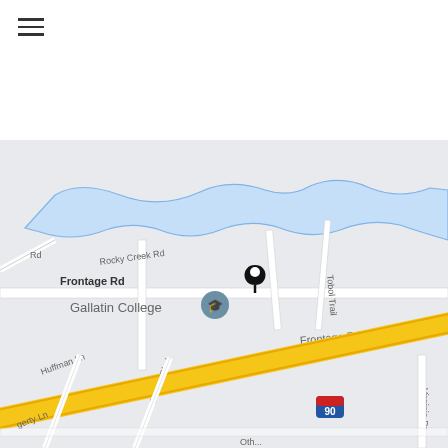[Figure (map): Street map showing Gallatin College area near Frontage Rd, Rocky Creek Rd, Tobol Trail, Huffman Ln, Sunset Blvd, Virginia Dr, and Interstate 90. A black map pin marker is placed on Frontage Rd near Gallatin College.]